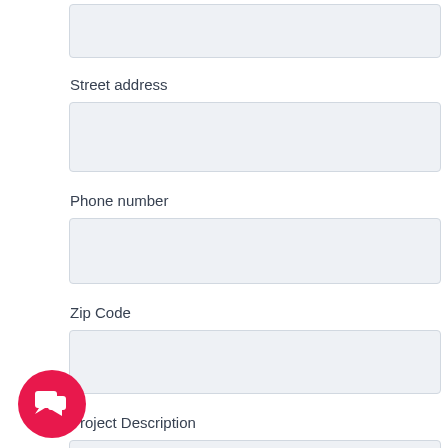[Figure (other): Empty form input field at top of page (no label visible)]
Street address
[Figure (other): Street address input field]
Phone number
[Figure (other): Phone number input field]
Zip Code
[Figure (other): Zip Code input field]
Project Description
[Figure (other): Project Description textarea input field]
[Figure (other): Red circular chat/messenger button in bottom left corner]